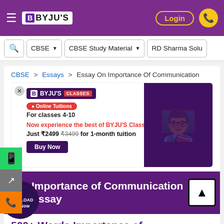BYJU'S — Login
CBSE | CBSE Study Material | RD Sharma Solu
CBSE > Essays > Essay On Importance Of Communication
[Figure (infographic): BYJU'S Classes advertisement banner: Online Tuitions for classes 4-10. Now experience the best of BYJU'S Classes. Just ₹2499 ₹3499 for 1-month tuition. Buy Now button. Purple background with student illustration on the right.]
Importance of Communication Essay
500+ Words Importance of Communication Essay